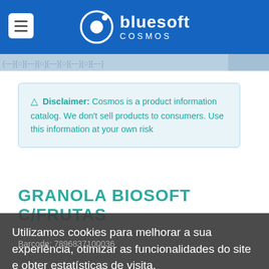bluesoft COSMOS
⚠ Disclaimer: Cosmos is a product information catalog. We don't sell products to consumers. Use this information at your own risk
GRANOLA BIOSOFT C/FRUTAS
Utilizamos cookies para melhorar a sua experiência, otimizar as funcionalidades do site e obter estatísticas de visita. Para maiores informações, acesse nossa
Barcode: 7896837100036